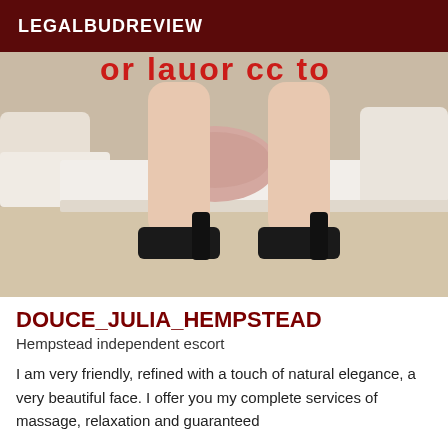LEGALBUDREVIEW
[Figure (photo): Photo showing a person's legs from approximately mid-thigh down, wearing black high-heeled platform shoes, standing on a light-colored floor with a white sofa/couch in the background. Red watermark text is partially visible at the top of the image.]
DOUCE_JULIA_HEMPSTEAD
Hempstead independent escort
I am very friendly, refined with a touch of natural elegance, a very beautiful face. I offer you my complete services of massage, relaxation and guaranteed